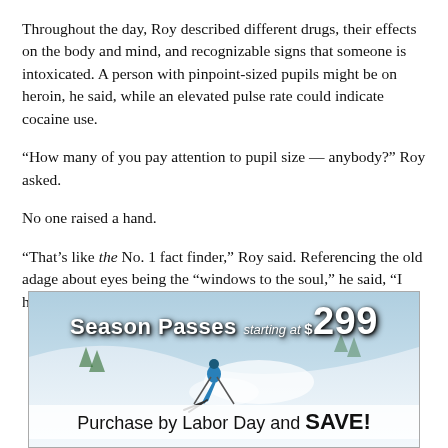Throughout the day, Roy described different drugs, their effects on the body and mind, and recognizable signs that someone is intoxicated. A person with pinpoint-sized pupils might be on heroin, he said, while an elevated pulse rate could indicate cocaine use.
“How many of you pay attention to pupil size — anybody?” Roy asked.
No one raised a hand.
“That’s like the No. 1 fact finder,” Roy said. Referencing the old adage about eyes being the “windows to the soul,” he said, “I have no clue about that, but it is a
[Figure (infographic): Advertisement banner for ski season passes. Blue background with ski slope and skier image. Text reads: Season Passes starting at $299. Purchase by Labor Day and SAVE!]